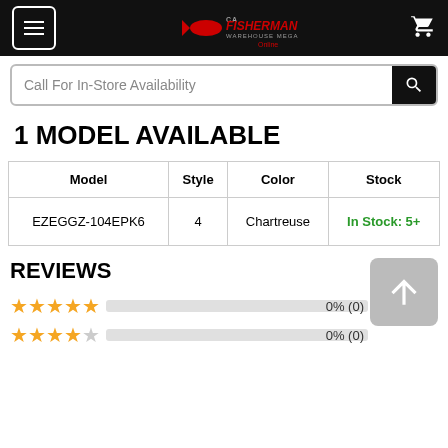Fisherman's — hamburger menu, logo, cart
Call For In-Store Availability
1 MODEL AVAILABLE
| Model | Style | Color | Stock |
| --- | --- | --- | --- |
| EZEGGZ-104EPK6 | 4 | Chartreuse | In Stock: 5+ |
REVIEWS
5 stars 0% (0)
4 stars 0% (0)